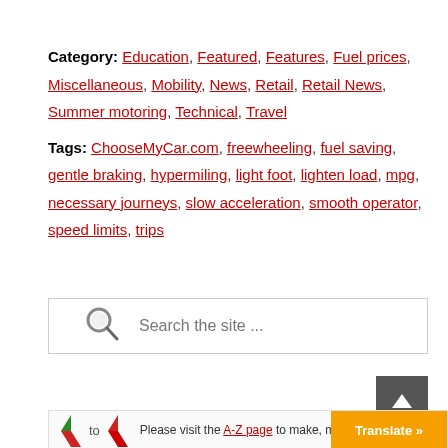Category: Education, Featured, Features, Fuel prices, Miscellaneous, Mobility, News, Retail, Retail News, Summer motoring, Technical, Travel
Tags: ChooseMyCar.com, freewheeling, fuel saving, gentle braking, hypermiling, light foot, lighten load, mpg, necessary journeys, slow acceleration, smooth operator, speed limits, trips
Search the site ...
Please visit the A-Z page to make, model, year etc, an